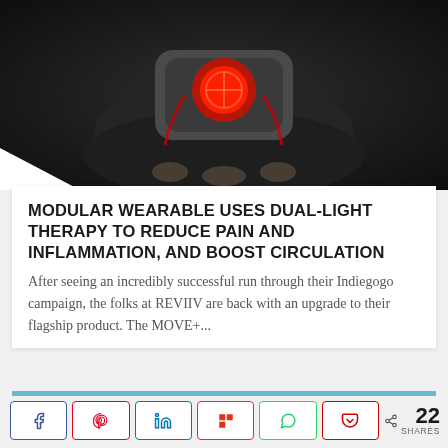[Figure (photo): Close-up photo of a wearable medical light therapy device glowing red, held by a person's hand, dark background]
MODULAR WEARABLE USES DUAL-LIGHT THERAPY TO REDUCE PAIN AND INFLAMMATION, AND BOOST CIRCULATION
After seeing an incredibly successful run through their Indiegogo campaign, the folks at REVIIV are back with an upgrade to their flagship product. The MOVE+...